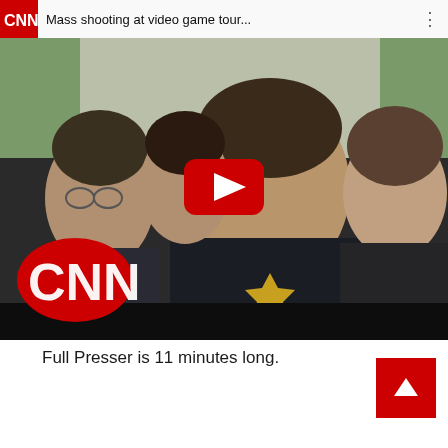[Figure (screenshot): CNN YouTube video thumbnail showing a press conference with a police officer in dark uniform with sheriff badge, CNN logo overlay, YouTube play button in center. Video title: 'Mass shooting at video game tour...']
Full Presser is 11 minutes long.